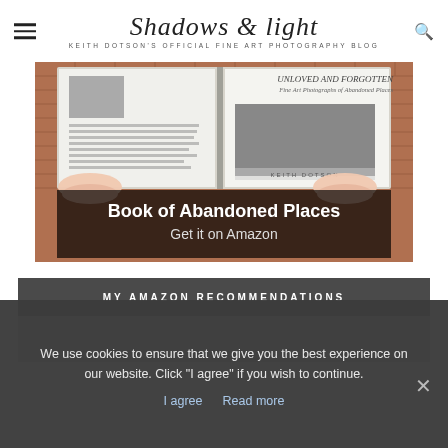Shadows & light — KEITH DOTSON'S OFFICIAL FINE ART PHOTOGRAPHY BLOG
[Figure (photo): Person holding open a photography book titled 'Unloved and Forgotten – Fine Art Photographs of Abandoned Places' by Keith Dotson, showing spreads of the book. Overlay text reads: 'Book of Abandoned Places – Get it on Amazon']
MY AMAZON RECOMMENDATIONS
We use cookies to ensure that we give you the best experience on our website. Click "I agree" if you wish to continue.
I agree   Read more